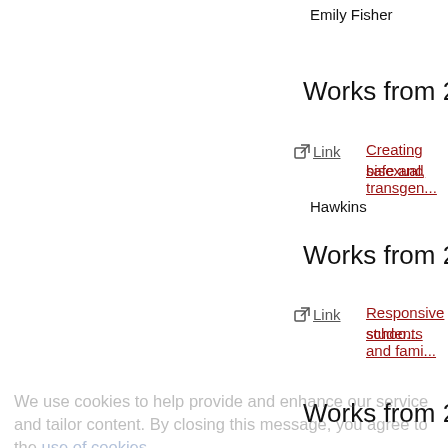Emily Fisher
Works from 2013
Link   Creating safe and ... bisexual, transgen...
Hawkins
Works from 2012
Link   Responsive schoo... students and fami...
Works from 2011
Link   Machismo and Mo...  Fernando Estrada
Link   Straight allies: Wh...  Fingerhut
Link   Essentialist beliefs...
We use cookies to help provide and enhance our service and tailor content. By closing this message, you agree to the use of cookies.
Close